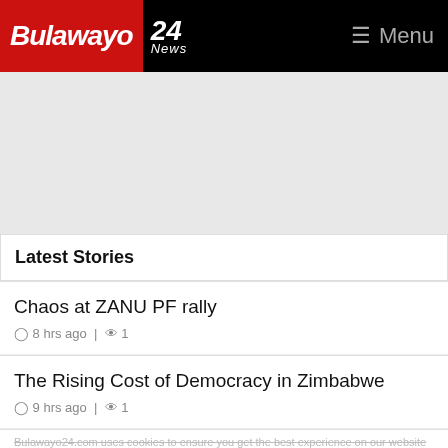Bulawayo 24 News | Menu
[Figure (other): Advertisement banner area, grey background]
Latest Stories
Chaos at ZANU PF rally
8 hrs ago | 1
The Rising Cost of Democracy in Zimbabwe
9 hrs ago | 1
SA employers of Zimbabwean permit holders told to make preparations as grace period approaches
Bulawayo24.com uses cookies to ensure you get the best experience on our website
Got it!